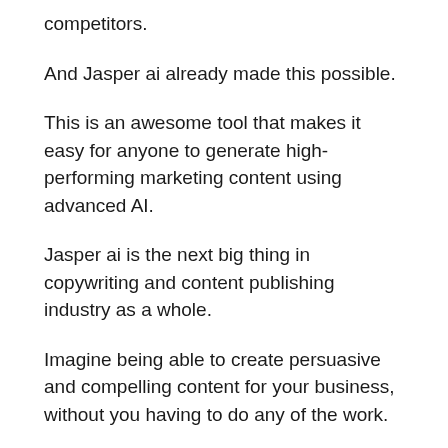competitors.
And Jasper ai already made this possible.
This is an awesome tool that makes it easy for anyone to generate high-performing marketing content using advanced AI.
Jasper ai is the next big thing in copywriting and content publishing industry as a whole.
Imagine being able to create persuasive and compelling content for your business, without you having to do any of the work.
Get started completely free and see the wonders for yourself.